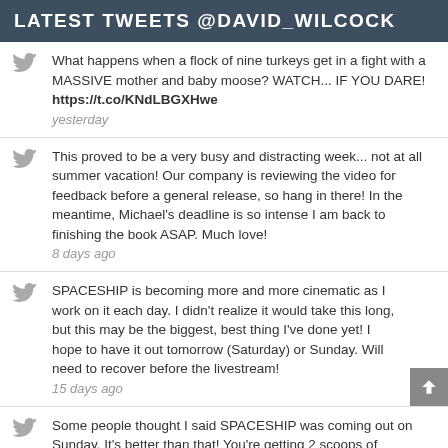LATEST TWEETS @DAVID_WILCOCK
What happens when a flock of nine turkeys get in a fight with a MASSIVE mother and baby moose? WATCH... IF YOU DARE! https://t.co/KNdLBGXHwe
yesterday
This proved to be a very busy and distracting week... not at all summer vacation! Our company is reviewing the video for feedback before a general release, so hang in there! In the meantime, Michael's deadline is so intense I am back to finishing the book ASAP. Much love!
8 days ago
SPACESHIP is becoming more and more cinematic as I work on it each day. I didn't realize it would take this long, but this may be the biggest, best thing I've done yet! I hope to have it out tomorrow (Saturday) or Sunday. Will need to recover before the livestream!
15 days ago
Some people thought I said SPACESHIP was coming out on Sunday. It's better than that! You're getting 2 scoops of awesome: 1. SPACESHIP when ready (hopefully early this week) 2. Livestream next Sunday I am playing around with new motion graphics and it is gorgeous.
19 days ago